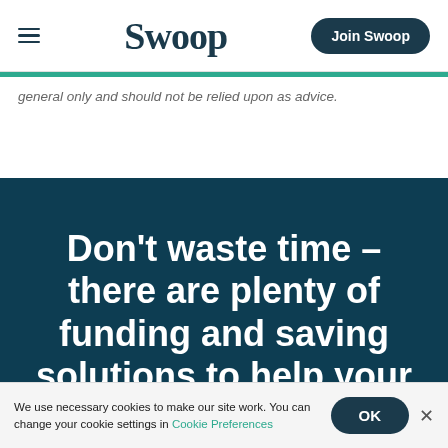Swoop — Join Swoop
general only and should not be relied upon as advice.
Don't waste time – there are plenty of funding and saving solutions to help your business grow
We use necessary cookies to make our site work. You can change your cookie settings in Cookie Preferences